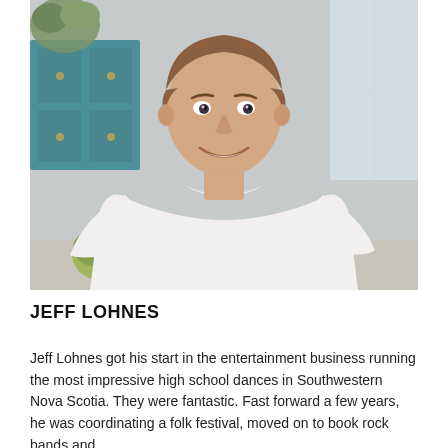[Figure (photo): Headshot photograph of Jeff Lohnes, a smiling young man with short brown hair wearing a white t-shirt, photographed in a kitchen/living space with a teal cabinet and plants visible in the background.]
JEFF LOHNES
Jeff Lohnes got his start in the entertainment business running the most impressive high school dances in Southwestern Nova Scotia. They were fantastic. Fast forward a few years, he was coordinating a folk festival, moved on to book rock bands and